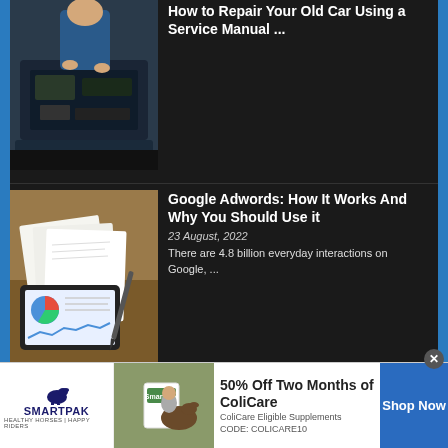[Figure (photo): Car repair image showing mechanic working under hood of car, partially cropped]
How to Repair Your Old Car Using a Service Manual ...
[Figure (photo): Tablet showing Google Analytics dashboard with charts and papers on desk]
Google Adwords: How It Works And Why You Should Use it
23 August, 2022
There are 4.8 billion everyday interactions on Google, ...
[Figure (photo): Bitcoin wallet image showing keys and orange coins on dark blue background]
The Best Bitcoin Wallet – Custodial or Non-Custodial
23 August, 2022
The cryptocurrency market is
[Figure (infographic): SmartPak advertisement banner: 50% Off Two Months of ColiCare, ColiCare Eligible Supplements, CODE: COLICARE10, with Shop Now button]